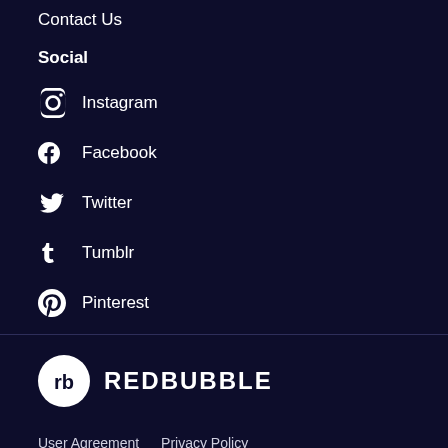Contact Us
Social
Instagram
Facebook
Twitter
Tumblr
Pinterest
[Figure (logo): Redbubble logo - circular icon with RB initials and REDBUBBLE text]
User Agreement  Privacy Policy  Do not sell my personal information  Cookie Policy